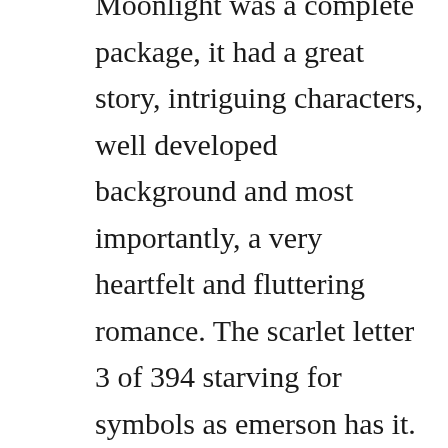Moonlight was a complete package, it had a great story, intriguing characters, well developed background and most importantly, a very heartfelt and fluttering romance. The scarlet letter 3 of 394 starving for symbols as emerson has it. The game was first announced on natsumes official twitter account on may 16th, 2017. Show not only knows how to bring out the best in its story and its characters, it knows how to engage the heart and bring on the feels too. Abby is stuck smack dab in the middle of a full out catastrophe. A trace of moonlight was action